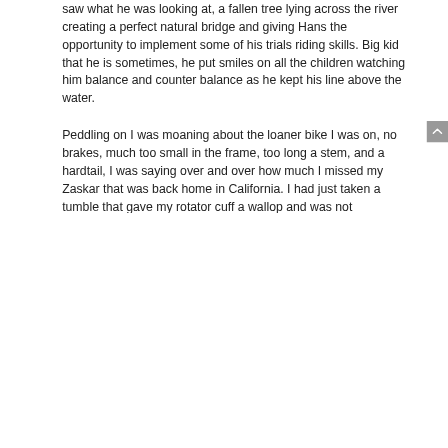saw what he was looking at, a fallen tree lying across the river creating a perfect natural bridge and giving Hans the opportunity to implement some of his trials riding skills. Big kid that he is sometimes, he put smiles on all the children watching him balance and counter balance as he kept his line above the water.

Peddling on I was moaning about the loaner bike I was on, no brakes, much too small in the frame, too long a stem, and a hardtail, I was saying over and over how much I missed my Zaskar that was back home in California. I had just taken a tumble that gave my rotator cuff a wallop and was not